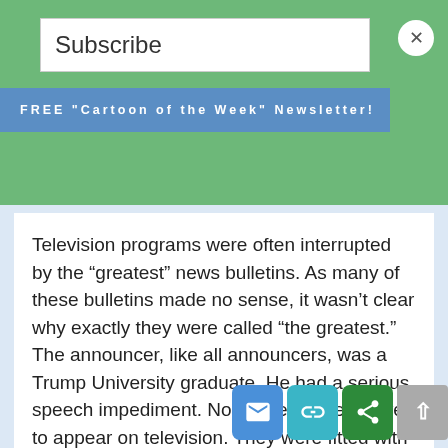Subscribe
FREE "Cartoon of the Week" Newsletter!
Television programs were often interrupted by the “greatest” news bulletins. As many of these bulletins made no sense, it wasn’t clear why exactly they were called “the greatest.” The announcer, like all announcers, was a Trump University graduate. He had a serious speech impediment. No women were allowed to appear on television. They were fitted with ankle bracelets and were rarely allowed to leave the kitchen. For about four to five minutes, and in a state of obvious discomfort, the announcer tried to blurt out the words “M…” and ‘Merica good.”